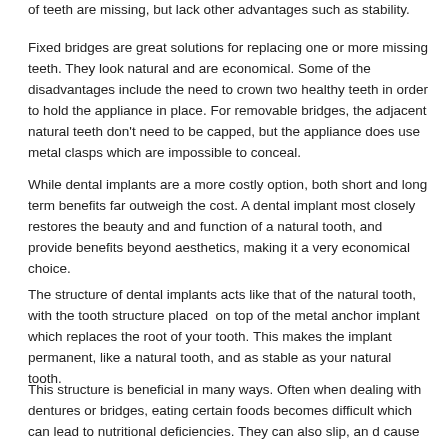of teeth are missing, but lack other advantages such as stability.
Fixed bridges are great solutions for replacing one or more missing teeth. They look natural and are economical. Some of the disadvantages include the need to crown two healthy teeth in order to hold the appliance in place. For removable bridges, the adjacent natural teeth don't need to be capped, but the appliance does use metal clasps which are impossible to conceal.
While dental implants are a more costly option, both short and long term benefits far outweigh the cost. A dental implant most closely restores the beauty and and function of a natural tooth, and provide benefits beyond aesthetics, making it a very economical choice.
The structure of dental implants acts like that of the natural tooth, with the tooth structure placed on top of the metal anchor implant which replaces the root of your tooth. This makes the implant permanent, like a natural tooth, and as stable as your natural tooth.
This structure is beneficial in many ways. Often when dealing with dentures or bridges, eating certain foods becomes difficult which can lead to nutritional deficiencies. They can also slip, an d cause some embarrassment. Implants however, are fixed in place, undetectable, and